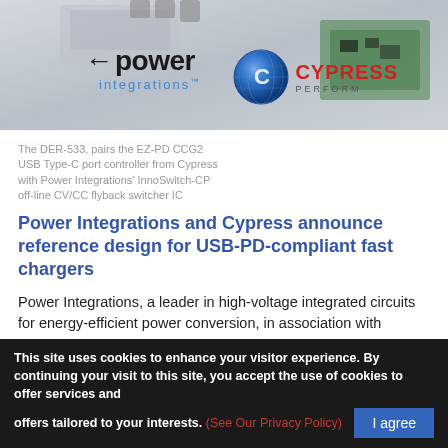[Figure (photo): Top banner with product hardware photo (chip/PCB) in background, Power Integrations logo on left, Cypress Semiconductor logo on right]
The DER-533, pairs the EZ-PD CCG2 USB Type-C port controller from Cypress with Power Integrations' InnoSwitch-CP off-line CV/CC flyback switcher IC
Power Integrations and Cypress announce reference design for USB-PD-compliant fast chargers
Power Integrations, a leader in high-voltage integrated circuits for energy-efficient power conversion, in association with Cypress Semiconductor, a leading USB innovator, announced a joint reference design describing a 20-watt, USB-PD compliant AC-DC power converter targeted at chargers for smart mobile devices. Th . . . Read More
This site uses cookies to enhance your visitor experience. By continuing your visit to this site, you accept the use of cookies to offer services and offers tailored to your interests. (See Our Privacy Policy)  I agree